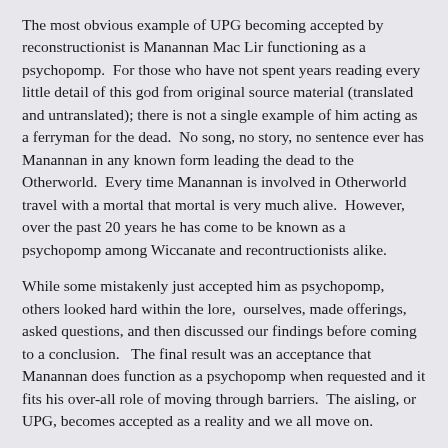The most obvious example of UPG becoming accepted by reconstructionist is Manannan Mac Lir functioning as a psychopomp.  For those who have not spent years reading every little detail of this god from original source material (translated and untranslated); there is not a single example of him acting as a ferryman for the dead.  No song, no story, no sentence ever has Manannan in any known form leading the dead to the Otherworld.  Every time Manannan is involved in Otherworld travel with a mortal that mortal is very much alive.  However, over the past 20 years he has come to be known as a psychopomp among Wiccanate and recontructionists alike.
While some mistakenly just accepted him as psychopomp, others looked hard within the lore,  ourselves, made offerings, asked questions, and then discussed our findings before coming to a conclusion.   The final result was an acceptance that Manannan does function as a psychopomp when requested and it fits his over-all role of moving through barriers.  The aisling, or UPG, becomes accepted as a reality and we all move on.
The application of the triad has also resulted in the rejection of a common UPG, namely that the Morrigan is a Mother Goddess.  There are those who feel that the Morrigan, one of the Morignea, is a goddess of mothers and motherhood.  When the idea was presented to the reconstructionist...